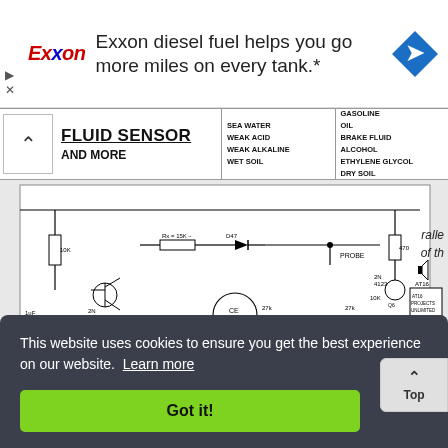[Figure (infographic): Exxon advertisement banner: Exxon logo on left, text 'Exxon diesel fuel helps you go more miles on every tank.*', navigation arrow icon on right]
[Figure (infographic): Fluid Sensor and More header with two columns listing: SEA WATER, WEAK ACID, WEAK ALKALINE, WET SOIL / GASOLINE, OIL, BRAKE FLUID, ALCOHOL, ETHYLENE GLYCOL, DRY SOIL]
[Figure (circuit-diagram): Electronic circuit diagram for a fluid sensor circuit showing transistors (2N4123), resistors (10K, 15K, 10K, 27K, 30K, 470), diodes (D47, 1N4148), capacitors (1uF, 0.1uF), oscillator (CE 2006), probe, speaker/buzzer, and power supply (12V or 24V). Components include Q1-Q6 transistors, OSC OUT labeled at 4.25 KHz, AT16 components, AT16 Projects Unlimited branding.]
This website uses cookies to ensure you get the best experience on our website. Learn more
Got it!